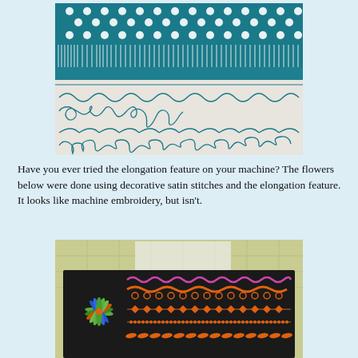[Figure (photo): Photo of fabric with decorative machine stitching: teal and white polka dot fabric on top, striped band, plain teal strip, white fabric with decorative teal looping stitch patterns in multiple rows below.]
Have you ever tried the elongation feature on your machine? The flowers below were done using decorative satin stitches and the elongation feature. It looks like machine embroidery, but isn't.
[Figure (photo): Photo of dark black fabric with decorative stitching samples: a multicolor flower/starburst in green, blue, and orange on the left; several rows of orange decorative stitches across the fabric including scallop edges, diamond shapes, dotted lines, and leaf/petal patterns. Background shows yellow-green graph paper.]